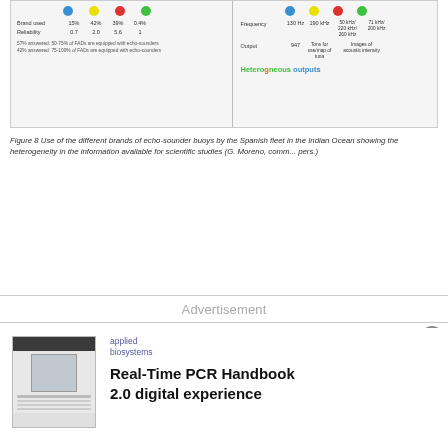[Figure (table-as-image): Figure showing use of different brands of echo-sounder buoys by the Spanish fleet in the Indian Ocean. Left panel shows a table with colored dots for brands, brand usage percentages (15%, 42%, 39%, 0.4%), reliability values (0.7, 2.0, 5.6, 1), and notes about FADs equipped with echo-sounders. Right panel shows frequency (130 Hz, 190 kHz, 50 kHz/220 kHz/260 kHz, 71 kHz/200 kHz) and output (947, tons for use/map of tuna, images of acoustic intensity). Text reads 'Heterogeneous outputs' in colored letters.]
Figure 8 Use of the different brands of echo-sounder buoys by the Spanish fleet in the Indian Ocean showing the heterogeneity in the information available for scientific studies (G. Moreno, comm... pers.)
Advertisement
[Figure (photo): Thumbnail image of the Applied Biosystems Real-Time PCR Handbook 2.0 digital experience cover/preview, showing a document with a laptop screen.]
applied biosystems

Real-Time PCR Handbook 2.0 digital experience